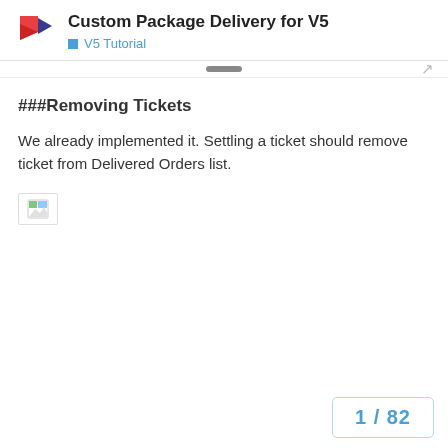Custom Package Delivery for V5 / V5 Tutorial
###Removing Tickets
We already implemented it. Settling a ticket should remove ticket from Delivered Orders list.
[Figure (screenshot): Broken image placeholder showing a small image icon]
1 / 82